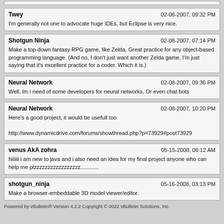Twey — 02-06-2007, 09:32 PM
I'm generally not one to advocate huge IDEs, but Eclipse is very nice.
Shotgun Ninja — 02-08-2007, 07:14 PM
Make a top-down fantasy RPG game, like Zelda. Great practice for any object-based programming language. (And no, I don't just want another Zelda game, I'm just saying that it's excellent practice for a coder. Which it is.)
Neural Network — 02-08-2007, 09:36 PM
Well, Im i need of some developers for neural networks, Or even chat bots
Neural Network — 02-08-2007, 10:20 PM
Here's a good project, it would be usefull too
http://www.dynamicdrive.com/forums/showthread.php?p=73929#post73929
venus AkA zohra — 05-15-2008, 06:12 AM
hiiiiii i am new to java and i also need an idea for my final project anyone who can help me plzzzzzzzzzzzzzzzzz..............
shotgun_ninja — 05-16-2008, 03:13 PM
Make a browser-embeddable 3D model viewer/editor.
Powered by vBulletin® Version 4.2.2 Copyright © 2022 vBulletin Solutions, Inc.